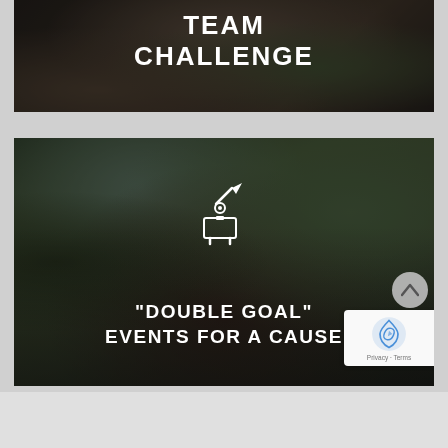[Figure (photo): Dark overhead photo of people working together on a table, overlaid with bold white text reading TEAM CHALLENGE]
[Figure (photo): Outdoor crowd photo of people at tables in a park setting, overlaid with a white donation box icon and bold white text reading 'DOUBLE GOAL' EVENTS FOR A CAUSE]